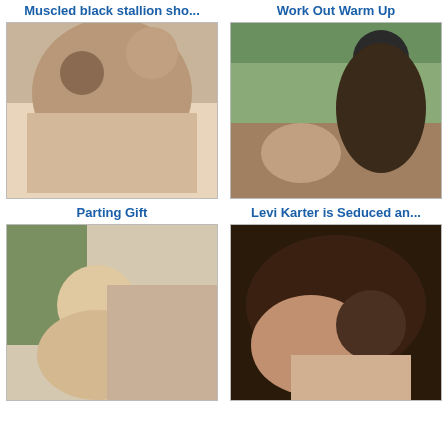Muscled black stallion sho...
Work Out Warm Up
[Figure (photo): Two men engaged in sexual activity indoors on a bed]
[Figure (photo): Two men engaged in sexual activity outdoors]
Parting Gift
Levi Karter is Seduced an...
[Figure (photo): Young blond man in sexual activity indoors]
[Figure (photo): Close-up of men in sexual activity]